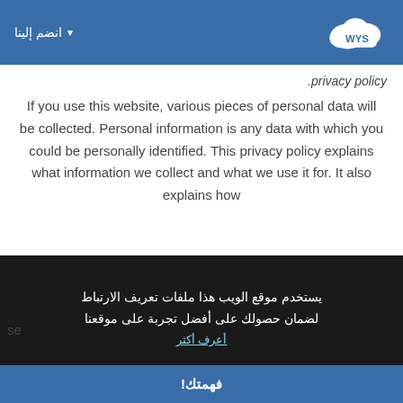انضم إلينا — WYS logo
.privacy policy
If you use this website, various pieces of personal data will be collected. Personal information is any data with which you could be personally identified. This privacy policy explains what information we collect and what we use it for. It also explains how
يستخدم موقع الويب هذا ملفات تعريف الارتباط لضمان حصولك على أفضل تجربة على موقعنا أعرف أكثر
se
فهمتك!